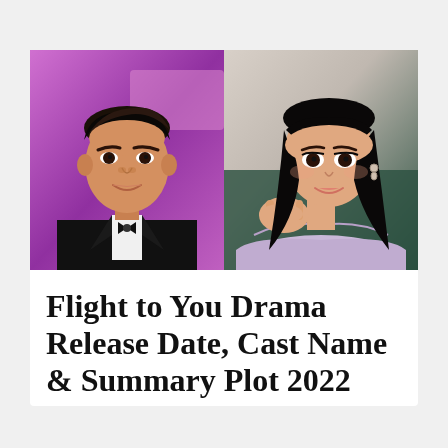[Figure (photo): Two side-by-side photos: left photo shows a young Asian man in a tuxedo with bow tie against a purple background; right photo shows a young Asian woman with bangs resting her chin on her hand, wearing an off-shoulder outfit against a teal/green background.]
Flight to You Drama Release Date, Cast Name & Summary Plot 2022